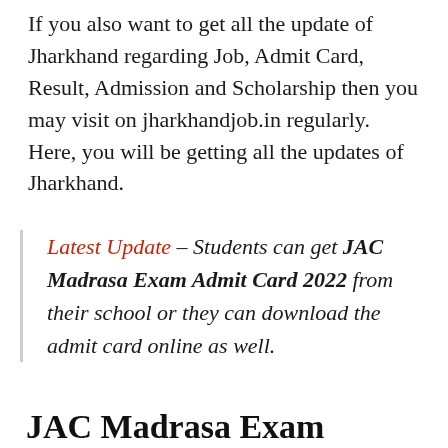If you also want to get all the update of Jharkhand regarding Job, Admit Card, Result, Admission and Scholarship then you may visit on jharkhandjob.in regularly. Here, you will be getting all the updates of Jharkhand.
Latest Update – Students can get JAC Madrasa Exam Admit Card 2022 from their school or they can download the admit card online as well.
JAC Madrasa Exam